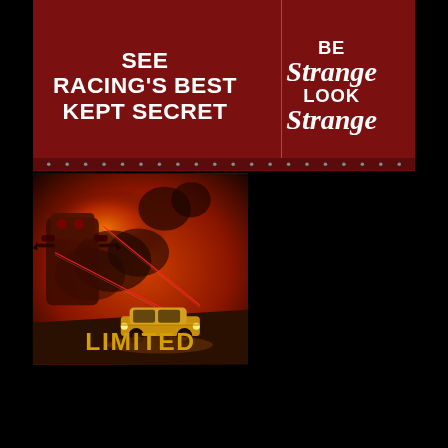[Figure (illustration): Top banner with dark red background split into two sections. Left section: bold white uppercase text reading 'SEE RACING'S BEST KEPT SECRET'. Right section: bold white text reading 'BE Strange LOOK Strange' with 'Strange' in serif italic style. A row of rivets runs along the bottom of the banner.]
[Figure (illustration): Bottom left: action scene illustration showing a golden/yellow car being attacked by robotic or monstrous figures with red laser beams, set against an orange and red explosive background. Text 'LIMITED' appears at the bottom in gold.]
SEE RACING'S BEST KEPT SECRET
BE Strange LOOK Strange
LIMITED